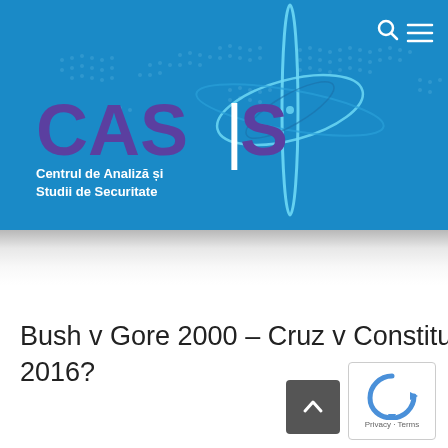[Figure (logo): CASS - Centrul de Analiză și Studii de Securitate logo on blue banner background with world map]
Bush v Gore 2000 – Cruz v Constituți 2016?